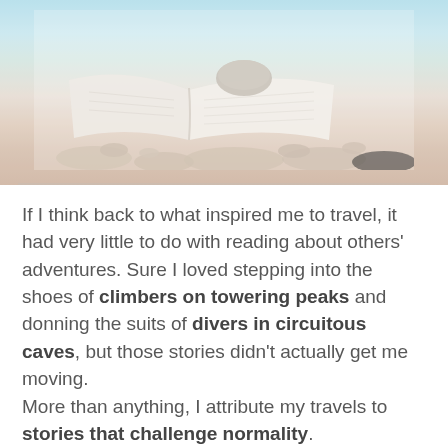[Figure (photo): Photo of an open book lying on pebbles/rocks on a beach with a blurred blue sky in the background. A stone rests on the open pages. Soft, washed-out tones.]
If I think back to what inspired me to travel, it had very little to do with reading about others' adventures. Sure I loved stepping into the shoes of climbers on towering peaks and donning the suits of divers in circuitous caves, but those stories didn't actually get me moving.
More than anything, I attribute my travels to stories that challenge normality.